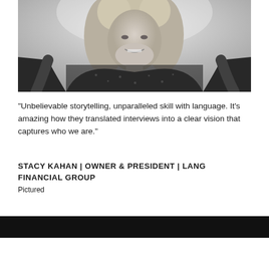[Figure (photo): Black and white portrait photo of a smiling blonde woman wearing a dark patterned top, photographed from approximately the waist up against a light background.]
“Unbelievable storytelling, unparalleled skill with language. It’s amazing how they translated interviews into a clear vision that captures who we are.”
STACY KAHAN | OWNER & PRESIDENT | LANG FINANCIAL GROUP
Pictured